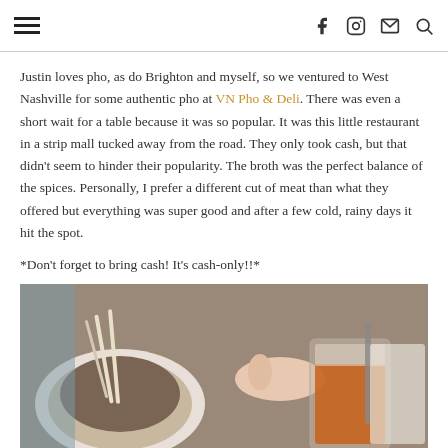≡  f  ◯  ✉  🔍
Justin loves pho, as do Brighton and myself, so we ventured to West Nashville for some authentic pho at VN Pho & Deli. There was even a short wait for a table because it was so popular. It was this little restaurant in a strip mall tucked away from the road. They only took cash, but that didn't seem to hinder their popularity. The broth was the perfect balance of the spices. Personally, I prefer a different cut of meat than what they offered but everything was super good and after a few cold, rainy days it hit the spot.
*Don't forget to bring cash! It's cash-only!!*
[Figure (photo): Photo of a bowl of pho soup and a glass of Thai iced tea on a restaurant table]